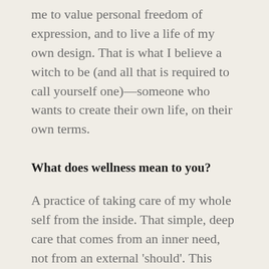me to value personal freedom of expression, and to live a life of my own design. That is what I believe a witch to be (and all that is required to call yourself one)—someone who wants to create their own life, on their own terms.
What does wellness mean to you?
A practice of taking care of my whole self from the inside. That simple, deep care that comes from an inner need, not from an external 'should'. This includes calling upon external support and